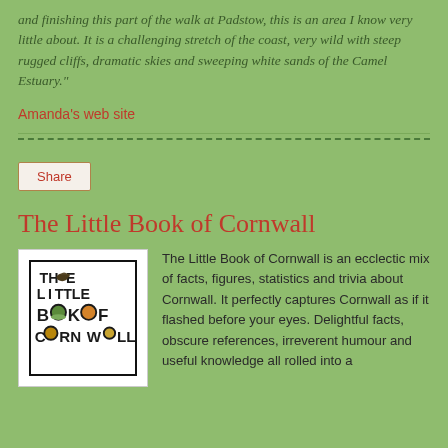and finishing this part of the walk at Padstow, this is an area I know very little about. It is a challenging stretch of the coast, very wild with steep rugged cliffs, dramatic skies and sweeping white sands of the Camel Estuary."
Amanda's web site
Share
The Little Book of Cornwall
[Figure (illustration): Book cover of 'The Little Book of Cornwall' showing bold text with decorative images replacing some letters, including what appears to be a bird, landscape scenes, and food items within the letterforms.]
The Little Book of Cornwall is an ecclectic mix of facts, figures, statistics and trivia about Cornwall. It perfectly captures Cornwall as if it flashed before your eyes. Delightful facts, obscure references, irreverent humour and useful knowledge all rolled into a